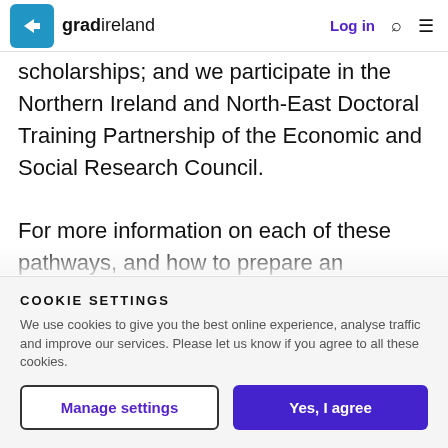gradireland — Log in
scholarships; and we participate in the Northern Ireland and North-East Doctoral Training Partnership of the Economic and Social Research Council.
For more information on each of these pathways, and how to prepare an application, including how to draft a research proposal, please visit our
COOKIE SETTINGS
We use cookies to give you the best online experience, analyse traffic and improve our services. Please let us know if you agree to all these cookies.
Manage settings
Yes, I agree